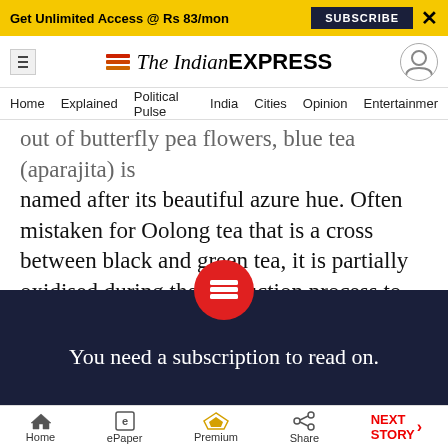Get Unlimited Access @ Rs 83/mon  SUBSCRIBE  X
The Indian EXPRESS
Home  Explained  Political Pulse  India  Cities  Opinion  Entertainment
out of butterfly pea flowers, blue tea (aparajita) is named after its beautiful azure hue. Often mistaken for Oolong tea that is a cross between black and green tea, it is partially oxidised during the production process to give it its characteristic taste.
You need a subscription to read on.
Home  ePaper  Premium  Share  NEXT STORY